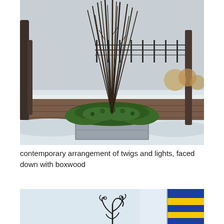[Figure (photo): Outdoor winter scene showing a large rectangular planter with boxwood evergreens at the base and tall bare dark twigs/branches arranged vertically. Snow covers the ground and a brick wall is visible in the background. Bare tree trunks and dried flowers are also visible.]
contemporary arrangement of twigs and lights, faced down with boxwood
[Figure (photo): Partial image showing a decorative metal sculpture resembling stylized plant or figure forms in black, and on the right edge a partial view of what appears to be a brightly colored object with yellow and blue stripes.]